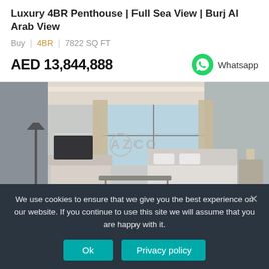Luxury 4BR Penthouse | Full Sea View | Burj Al Arab View
Buy | 4BR | 7822 SQ FT
AED 13,844,888
Whatsapp
[Figure (photo): Luxury penthouse bedroom interior with floor-to-ceiling windows, modern furniture, bed with white bedding, sofa, TV, and watermark 'AZCO' in center]
We use cookies to ensure that we give you the best experience on our website. If you continue to use this site we will assume that you are happy with it.
Ok
Privacy policy